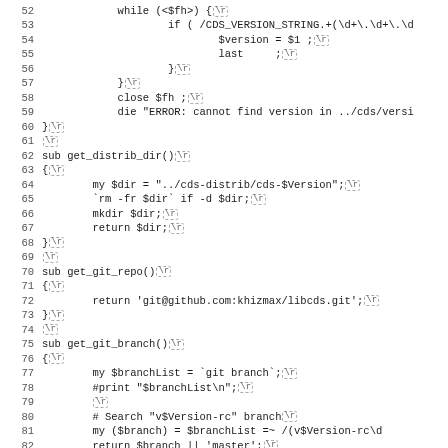[Figure (screenshot): Source code listing in Perl showing lines 52-83. Contains subroutines get_distrib_dir(), get_git_repo(), and get_git_branch() with line numbers and \r newline markers shown as dashed boxes.]